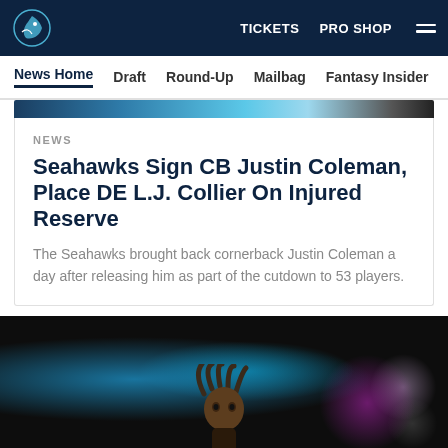Seattle Seahawks navigation — TICKETS  PRO SHOP  Menu
News Home  Draft  Round-Up  Mailbag  Fantasy Insider  Roster
[Figure (photo): Partial top edge of a sports news article image (blurred stadium/arena background in teal and dark tones)]
NEWS
Seahawks Sign CB Justin Coleman, Place DE L.J. Collier On Injured Reserve
The Seahawks brought back cornerback Justin Coleman a day after releasing him as part of the cutdown to 53 players.
[Figure (photo): Player with dreadlocks standing in a dark arena with blue and purple bokeh lights behind him]
[Figure (infographic): Social sharing icons row: Facebook, Twitter, Email, Link]